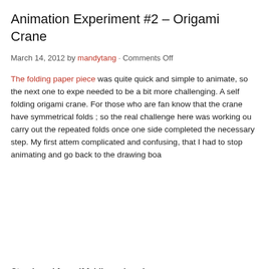Animation Experiment #2 – Origami Crane
March 14, 2012 by mandytang · Comments Off
The folding paper piece was quite quick and simple to animate, so the next one to expe needed to be a bit more challenging. A self folding origami crane. For those who are fan know that the crane have symmetrical folds ; so the real challenge here was working ou carry out the repeated folds once one side completed the necessary step. My first attem complicated and confusing, that I had to stop animating and go back to the drawing boa
Storyboard for self folding origami crane.
Following the new storyboard the animation progressed at a good pace at the start but t with the number of key frames so it may look like the crane got impatient and hastily fol